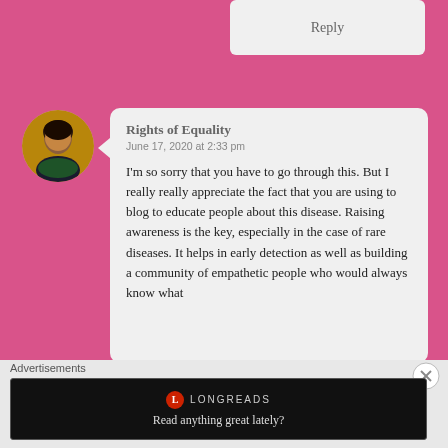Reply
[Figure (photo): Circular avatar photo of a woman against a dark background with green foliage]
Rights of Equality
June 17, 2020 at 2:33 pm
I'm so sorry that you have to go through this. But I really really appreciate the fact that you are using to blog to educate people about this disease. Raising awareness is the key, especially in the case of rare diseases. It helps in early detection as well as building a community of empathetic people who would always know what
Advertisements
[Figure (screenshot): Longreads advertisement banner with logo and tagline 'Read anything great lately?']